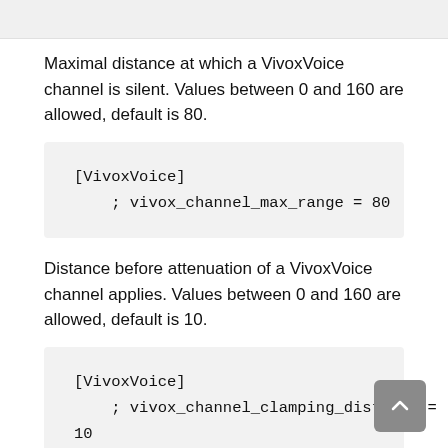Maximal distance at which a VivoxVoice channel is silent. Values between 0 and 160 are allowed, default is 80.
[VivoxVoice]
    ; vivox_channel_max_range = 80
Distance before attenuation of a VivoxVoice channel applies. Values between 0 and 160 are allowed, default is 10.
[VivoxVoice]
    ; vivox_channel_clamping_distance =
10